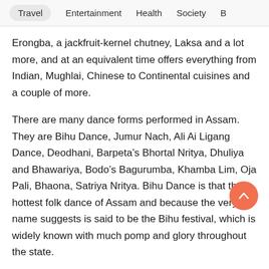Travel   Entertainment   Health   Society   B
Erongba, a jackfruit-kernel chutney, Laksa and a lot more, and at an equivalent time offers everything from Indian, Mughlai, Chinese to Continental cuisines and a couple of more.
There are many dance forms performed in Assam. They are Bihu Dance, Jumur Nach, Ali Ai Ligang Dance, Deodhani, Barpeta’s Bhortal Nritya, Dhuliya and Bhawariya, Bodo’s Bagurumba, Khamba Lim, Oja Pali, Bhaona, Satriya Nritya. Bihu Dance is that the hottest folk dance of Assam and because the very name suggests is said to be the Bihu festival, which is widely known with much pomp and glory throughout the state.
Bihu songs are the most famous among music lovers in